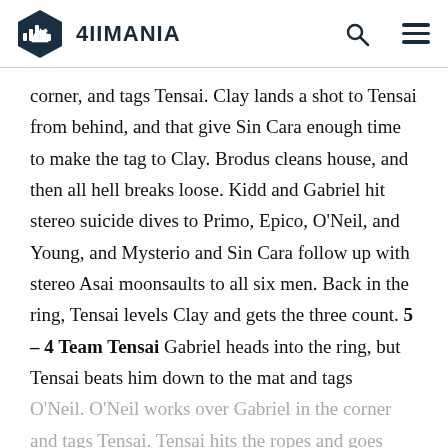4IIMANIA
corner, and tags Tensai. Clay lands a shot to Tensai from behind, and that give Sin Cara enough time to make the tag to Clay. Brodus cleans house, and then all hell breaks loose. Kidd and Gabriel hit stereo suicide dives to Primo, Epico, O'Neil, and Young, and Mysterio and Sin Cara follow up with stereo Asai moonsaults to all six men. Back in the ring, Tensai levels Clay and gets the three count. 5 – 4 Team Tensai Gabriel heads into the ring, but Tensai beats him down to the mat and tags O'Neil. O'Neil works over Gabriel in the corner and tags Tensai. Tensai hits the ropes and goes